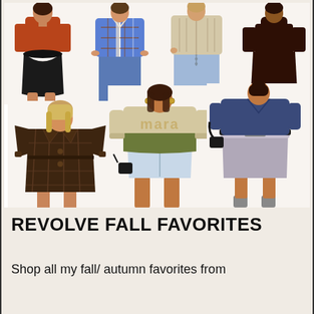[Figure (photo): Fashion collage of 7 models wearing fall/autumn clothing from Revolve. Top row: model in rust red long-sleeve top with black leather mini skirt; model in blue plaid flannel shirt with jeans; model in beige cable-knit cardigan with light jeans; model in dark brown turtleneck mini dress with knee-high dark brown boots. Bottom row: model in dark brown plaid blazer mini dress; model in beige 'mara' logo sweatshirt with olive green tie-front, light denim cut-off shorts and amber belt; model in navy blue V-neck sweater with gray shorts and black belt; model in dark chocolate brown turtleneck mini dress with tall dark brown suede boots.]
REVOLVE FALL FAVORITES
Shop all my fall/ autumn favorites from